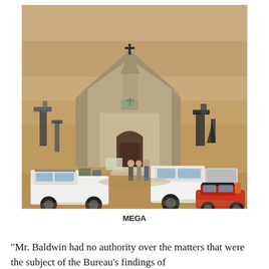[Figure (photo): Aerial photograph of a rustic wooden church-like film set in a desert/sandy landscape. Several vehicles are parked around it including two white pickup trucks and a red Jeep. Film equipment and crew members are visible around the structure. Multiple crosses adorn the building's steeple and facade.]
MEGA
“Mr. Baldwin had no authority over the matters that were the subject of the Bureau’s findings of